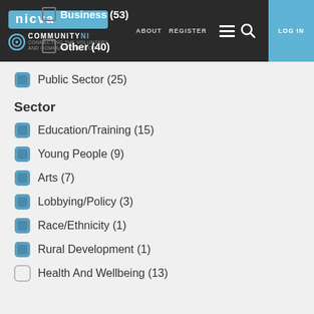nicva | COMMUNITY NI | ABOUT | REGISTER | LOG IN
Business (53)
Other (40)
Public Sector (25)
Sector
Education/Training (15)
Young People (9)
Arts (7)
Lobbying/Policy (3)
Race/Ethnicity (1)
Rural Development (1)
Health And Wellbeing (13)